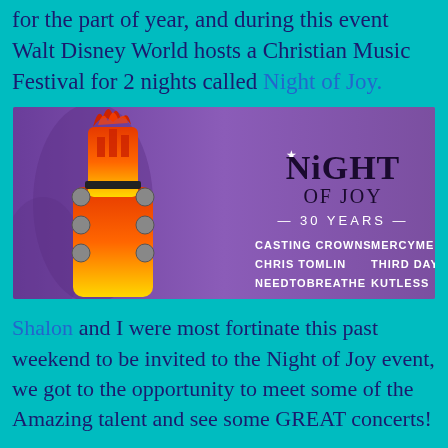for the part of year, and during this event Walt Disney World hosts a Christian Music Festival for 2 nights called Night of Joy.
[Figure (illustration): Night of Joy 30 Years promotional banner with a guitar headstock graphic on a purple background. Lists artists: Casting Crowns, MercyMe, Chris Tomlin, Third Day, Needtobreathe, Kutless.]
Shalon and I were most fortinate this past weekend to be invited to the Night of Joy event, we got to the opportunity to meet some of the Amazing talent and see some GREAT concerts!